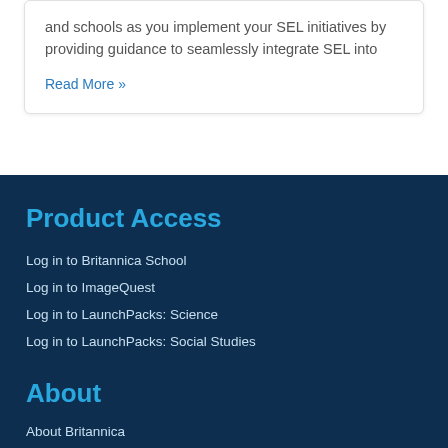and schools as you implement your SEL initiatives by providing guidance to seamlessly integrate SEL into
Read More »
Product Access
Log in to Britannica School
Log in to ImageQuest
Log in to LaunchPacks: Science
Log in to LaunchPacks: Social Studies
About
About Britannica